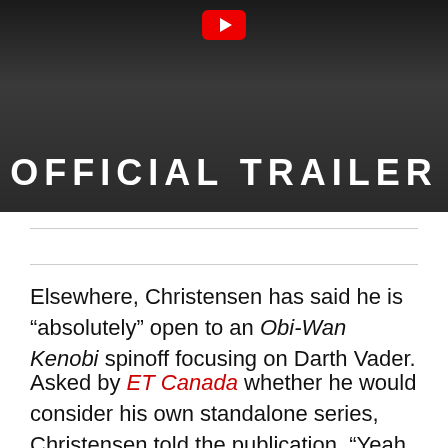[Figure (screenshot): YouTube-style video thumbnail showing a bearded man with 'OFFICIAL TRAILER' text overlay and a red play button at the top center]
Elsewhere, Christensen has said he is “absolutely” open to an Obi-Wan Kenobi spinoff focusing on Darth Vader.
Asked by ET Canada whether he would consider his own standalone series, Christensen told the publication, “Yeah, I mean, you know, absolutely,” adding: “I think this is a character that sort of